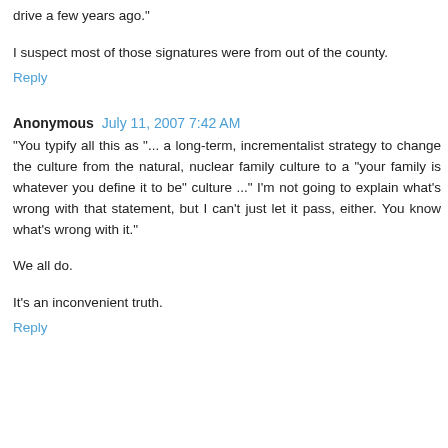drive a few years ago."
I suspect most of those signatures were from out of the county.
Reply
Anonymous July 11, 2007 7:42 AM
"You typify all this as "... a long-term, incrementalist strategy to change the culture from the natural, nuclear family culture to a "your family is whatever you define it to be" culture ..." I'm not going to explain what's wrong with that statement, but I can't just let it pass, either. You know what's wrong with it."
We all do.
It's an inconvenient truth.
Reply